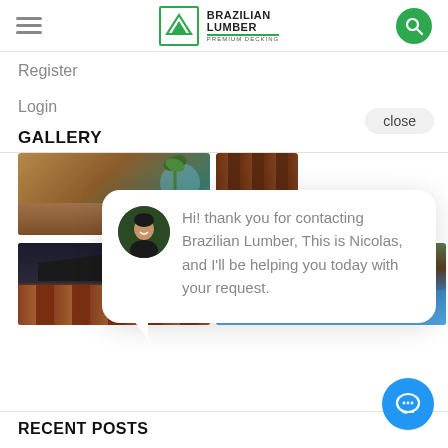Brazilian Lumber Premium Decking - navigation header with hamburger menu and search button
Register
Login
GALLERY
[Figure (photo): Gallery grid of outdoor decking and lumber installation photos showing pools, yachts, and tropical settings]
[Figure (other): Chat bubble overlay with avatar of Nicolas, text: Hi! thank you for contacting Brazilian Lumber, This is Nicolas, and I'll be helping you today with your request.]
RECENT POSTS